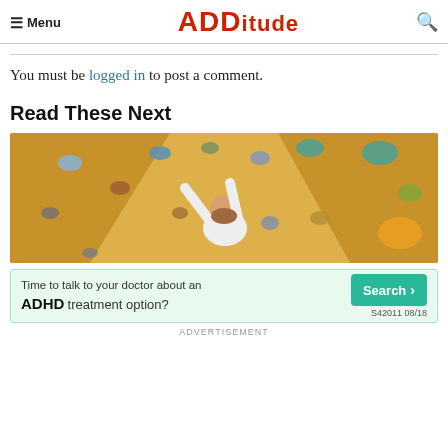Menu | ADDITUDE
You must be logged in to post a comment.
Read These Next
[Figure (photo): Person climbing an indoor bouldering wall with colorful holds, viewed from above]
[Figure (infographic): Advertisement banner: Time to talk to your doctor about an ADHD treatment option? Search button. S42011 08/18]
ADVERTISEMENT